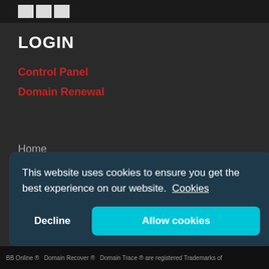[Figure (logo): Three white squares logo on dark bar at top]
LOGIN
Control Panel
Domain Renewal
Home
Top
Questions Answered
Who we are
Terms & Conditions (partially visible)
This website uses cookies to ensure you get the best experience on our website.  Cookies
Decline   Allow cookies
BB Online ®   Domain Recover ®   Domain Trace ® are registered Trademarks of